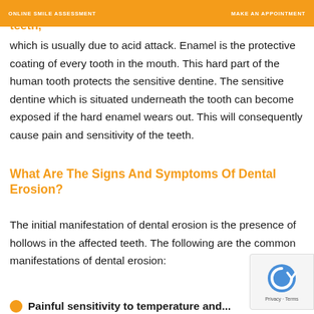ONLINE SMILE ASSESSMENT | MAKE AN APPOINTMENT
Dental erosion is the loss of the enamel of the teeth, which is usually due to acid attack. Enamel is the protective coating of every tooth in the mouth. This hard part of the human tooth protects the sensitive dentine. The sensitive dentine which is situated underneath the tooth can become exposed if the hard enamel wears out. This will consequently cause pain and sensitivity of the teeth.
What Are The Signs And Symptoms Of Dental Erosion?
The initial manifestation of dental erosion is the presence of hollows in the affected teeth. The following are the common manifestations of dental erosion:
Painful sensitivity to temperature and...